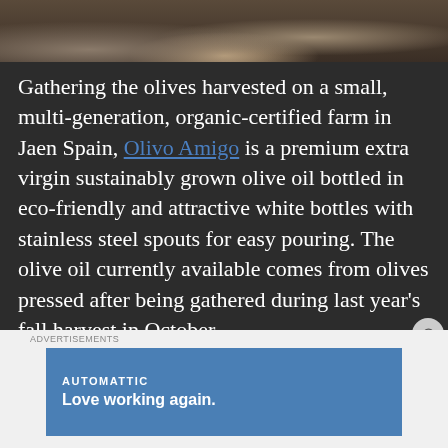[Figure (photo): Top portion of a photo showing dishes and tableware on a table, cropped at the bottom edge]
Gathering the olives harvested on a small, multi-generation, organic-certified farm in Jaen Spain, Olivo Amigo is a premium extra virgin sustainably grown olive oil bottled in eco-friendly and attractive white bottles with stainless steel spouts for easy pouring. The olive oil currently available comes from olives pressed after being gathered during last year’s fall harvest in October.
Olivo Amigo comes in
Advertisements
[Figure (screenshot): Advertisement banner for AUTOMATTIC with tagline 'Love working again.' on a blue background]